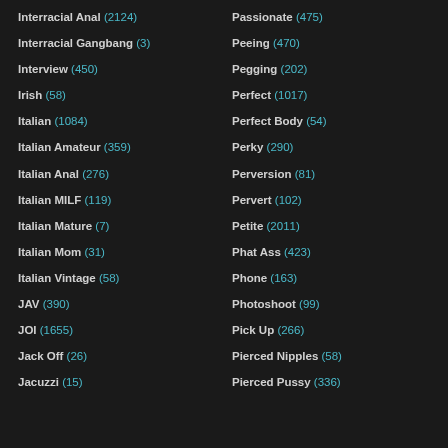Interracial Anal (2124)
Passionate (475)
Interracial Gangbang (3)
Peeing (470)
Interview (450)
Pegging (202)
Irish (58)
Perfect (1017)
Italian (1084)
Perfect Body (54)
Italian Amateur (359)
Perky (290)
Italian Anal (276)
Perversion (81)
Italian MILF (119)
Pervert (102)
Italian Mature (7)
Petite (2011)
Italian Mom (31)
Phat Ass (423)
Italian Vintage (58)
Phone (163)
JAV (390)
Photoshoot (99)
JOI (1655)
Pick Up (266)
Jack Off (26)
Pierced Nipples (58)
Jacuzzi (15)
Pierced Pussy (336)